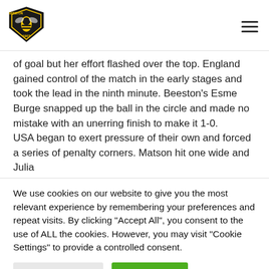[Figure (logo): Beeston HC shield logo with bee emblem, est. 1907]
of goal but her effort flashed over the top. England gained control of the match in the early stages and took the lead in the ninth minute. Beeston's Esme Burge snapped up the ball in the circle and made no mistake with an unerring finish to make it 1-0.
USA began to exert pressure of their own and forced a series of penalty corners. Matson hit one wide and Julia
We use cookies on our website to give you the most relevant experience by remembering your preferences and repeat visits. By clicking "Accept All", you consent to the use of ALL the cookies. However, you may visit "Cookie Settings" to provide a controlled consent.
Cookie Settings
Accept All